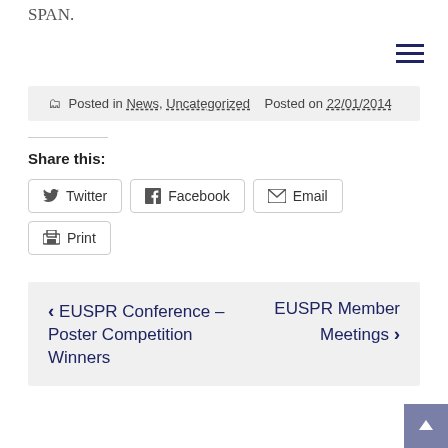SPAN.
Posted in News, Uncategorized   Posted on 22/01/2014
Share this:
Twitter   Facebook   Email   Print
< EUSPR Conference – Poster Competition Winners    EUSPR Member Meetings >